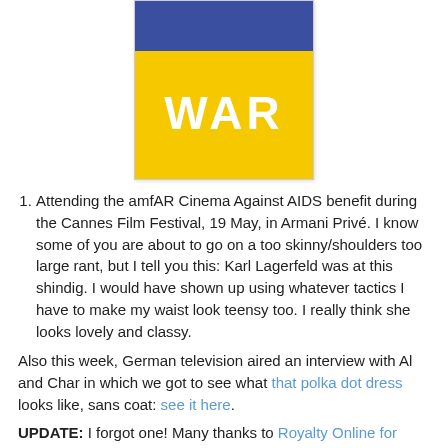[Figure (illustration): A square image divided horizontally into two sections: the top portion is a dark blue/navy color, and the larger bottom portion is bright yellow/gold. The word 'WAR' is displayed in large white bold letters in the center of the yellow section.]
Attending the amfAR Cinema Against AIDS benefit during the Cannes Film Festival, 19 May, in Armani Privé. I know some of you are about to go on a too skinny/shoulders too large rant, but I tell you this: Karl Lagerfeld was at this shindig. I would have shown up using whatever tactics I have to make my waist look teensy too. I really think she looks lovely and classy.
Also this week, German television aired an interview with Al and Char in which we got to see what that polka dot dress looks like, sans coat: see it here.
UPDATE: I forgot one! Many thanks to Royalty Online for